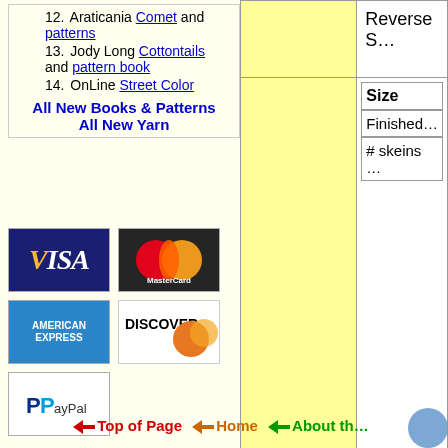12. Araticania Comet and patterns
13. Jody Long Cottontails and pattern book
14. OnLine Street Color
All New Books & Patterns
All New Yarn
[Figure (logo): Visa credit card logo]
[Figure (logo): MasterCard credit card logo]
[Figure (logo): American Express credit card logo]
[Figure (logo): Discover credit card logo]
[Figure (logo): PayPal logo]
|  | Reverse S... |
|  | Size
Finished...
# skeins... |
|  | Striped Be... |
|  | Size
# skeins... |
Top of Page  Home  About th...